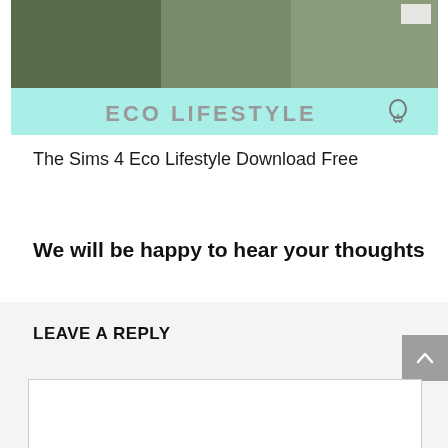[Figure (screenshot): Banner image for The Sims 4 Eco Lifestyle showing cyan background with text ECO LIFESTYLE and a light bulb icon]
The Sims 4 Eco Lifestyle Download Free
We will be happy to hear your thoughts
LEAVE A REPLY
[Figure (other): Empty textarea comment input box with white background and gray border]